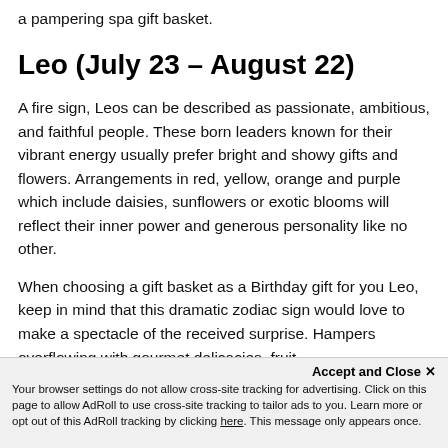a pampering spa gift basket.
Leo (July 23 – August 22)
A fire sign, Leos can be described as passionate, ambitious, and faithful people. These born leaders known for their vibrant energy usually prefer bright and showy gifts and flowers. Arrangements in red, yellow, orange and purple which include daisies, sunflowers or exotic blooms will reflect their inner power and generous personality like no other.
When choosing a gift basket as a Birthday gift for you Leo, keep in mind that this dramatic zodiac sign would love to make a spectacle of the received surprise. Hampers overflowing with gourmet delicacies, fruit, chocolate and fine alcohol will be a hit with...
Accept and Close ×
Your browser settings do not allow cross-site tracking for advertising. Click on this page to allow AdRoll to use cross-site tracking to tailor ads to you. Learn more or opt out of this AdRoll tracking by clicking here. This message only appears once.